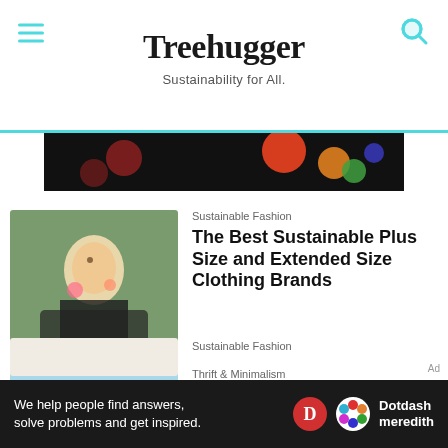Treehugger — Sustainability for All.
[Figure (photo): Dark background advertisement banner with colorful circles]
[Figure (photo): Woman in floral outdoor setting wearing black spotted dress]
Sustainable Fashion
The Best Sustainable Plus Size and Extended Size Clothing Brands
[Figure (photo): Clothes hanging on pink rack with blue background]
Thrift & Minimalism
Best Sustainable Clothing Brands
Sustainable Fashion
We help people find answers, solve problems and get inspired. Dotdash meredith